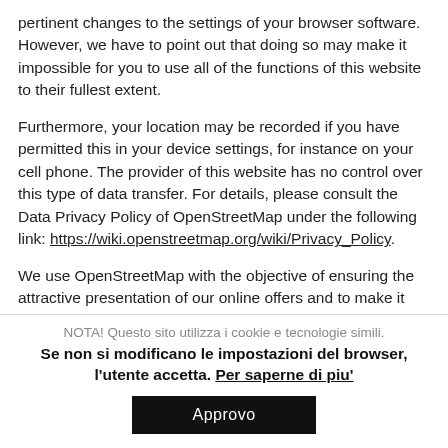pertinent changes to the settings of your browser software. However, we have to point out that doing so may make it impossible for you to use all of the functions of this website to their fullest extent.
Furthermore, your location may be recorded if you have permitted this in your device settings, for instance on your cell phone. The provider of this website has no control over this type of data transfer. For details, please consult the Data Privacy Policy of OpenStreetMap under the following link: https://wiki.openstreetmap.org/wiki/Privacy_Policy.
We use OpenStreetMap with the objective of ensuring the attractive presentation of our online offers and to make it easy for visitors to find the locations we specify on our
NOTA! Questo sito utilizza i cookie e tecnologie simili. Se non si modificano le impostazioni del browser, l'utente accetta. Per saperne di piu'
Approvo